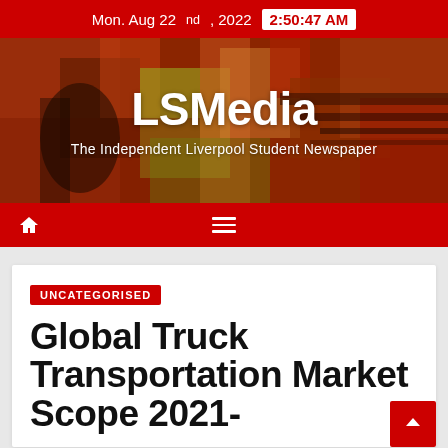Mon. Aug 22nd, 2022  2:50:47 AM
[Figure (screenshot): LSMedia banner with abstract painted background in red, orange, and green tones. White text reads 'LSMedia' and 'The Independent Liverpool Student Newspaper']
Navigation bar with home icon and hamburger menu
UNCATEGORISED
Global Truck Transportation Market Scope 2021-